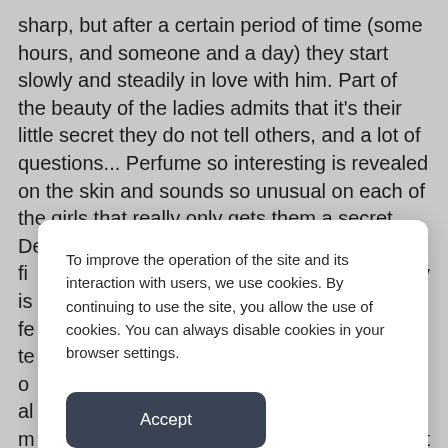sharp, but after a certain period of time (some hours, and someone and a day) they start slowly and steadily in love with him. Part of the beauty of the ladies admits that it's their little secret they do not tell others, and a lot of questions... Perfume so interesting is revealed on the skin and sounds so unusual on each of the girls that really only gets them a secret. Describe it difficult. The fi[rst time that many notice] y is [something floral with] fe[w spices. But after some] te[n-fifteen minutes or] o[ne hour, this picture changes] al[most unrecognizably:] m[usk and warm woods replace] t w[hat was before.]
To improve the operation of the site and its interaction with users, we use cookies. By continuing to use the site, you allow the use of cookies. You can always disable cookies in your browser settings.